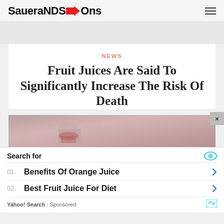SaueraNDS→Ons
NEWS
Fruit Juices Are Said To Significantly Increase The Risk Of Death
[Figure (photo): Photo of fruit juice being poured into glasses, reddish/pink liquid]
Search for
01. Benefits Of Orange Juice
02. Best Fruit Juice For Diet
Yahoo! Search | Sponsored